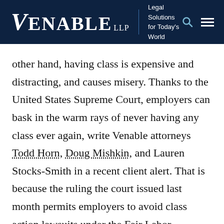Venable LLP — Legal Solutions for Today's World
other hand, having class is expensive and distracting, and causes misery. Thanks to the United States Supreme Court, employers can bask in the warm rays of never having any class ever again, write Venable attorneys Todd Horn, Doug Mishkin, and Lauren Stocks-Smith in a recent client alert. That is because the ruling the court issued last month permits employers to avoid class action lawsuits under the Fair Labor Standards Act and other employment laws. However, the authors write,